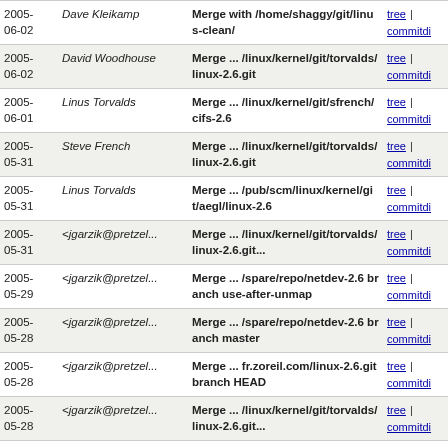| Date | Author | Commit message | Links |
| --- | --- | --- | --- |
| 2005-06-02 | Dave Kleikamp | Merge with /home/shaggy/git/linus-clean/ | tree | commitdi |
| 2005-06-02 | David Woodhouse | Merge ... /linux/kernel/git/torvalds/linux-2.6.git | tree | commitdi |
| 2005-06-01 | Linus Torvalds | Merge ... /linux/kernel/git/sfrench/cifs-2.6 | tree | commitdi |
| 2005-05-31 | Steve French | Merge ... /linux/kernel/git/torvalds/linux-2.6.git | tree | commitdi |
| 2005-05-31 | Linus Torvalds | Merge ... /pub/scm/linux/kernel/git/aegl/linux-2.6 | tree | commitdi |
| 2005-05-31 | <jgarzik@pretzel... | Merge ... /linux/kernel/git/torvalds/linux-2.6.git... | tree | commitdi |
| 2005-05-29 | <jgarzik@pretzel... | Merge ... /spare/repo/netdev-2.6 branch use-after-unmap | tree | commitdi |
| 2005-05-28 | <jgarzik@pretzel... | Merge ... /spare/repo/netdev-2.6 branch master | tree | commitdi |
| 2005-05-28 | <jgarzik@pretzel... | Merge ... fr.zoreil.com/linux-2.6.git branch HEAD | tree | commitdi |
| 2005-05-28 | <jgarzik@pretzel... | Merge ... /linux/kernel/git/torvalds/linux-2.6.git... | tree | commitdi |
| 2005-05-27 | Linus Torvalds | Merge ... /pub/scm/linux/kernel/git/hch/xfs- | tree | commitdi |